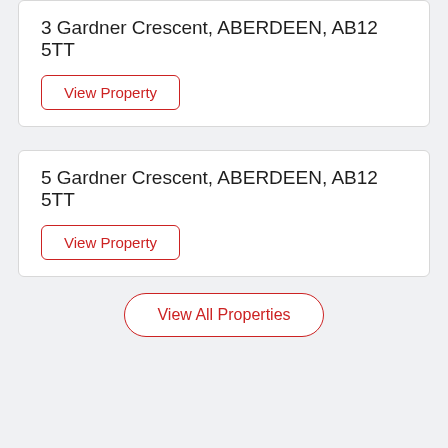3 Gardner Crescent, ABERDEEN, AB12 5TT
View Property
5 Gardner Crescent, ABERDEEN, AB12 5TT
View Property
View All Properties